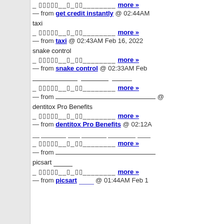_ ▯▯▯▯▯__▯_▯▯________ more »
— from get credit instantly @ 02:44AM
taxi
_ ▯▯▯▯▯__▯_▯▯________ more »
— from taxi @ 02:43AM Feb 16, 2022
snake control
_ ▯▯▯▯▯__▯_▯▯________ more »
— from snake control @ 02:33AM Feb
_______________ _________ _______
_ ▯▯▯▯▯__▯_▯▯________ more »
— from ________________________ @
dentitox Pro Benefits
_ ▯▯▯▯▯__▯_▯▯________ more »
— from dentitox Pro Benefits @ 02:12A
__ ________ ____ ________ _________ ____
_ ▯▯▯▯▯__▯_▯▯________ more »
— from ________________________
picsart ____
_ ▯▯▯▯▯__▯_▯▯________ more »
— from picsart ____ @ 01:44AM Feb 1